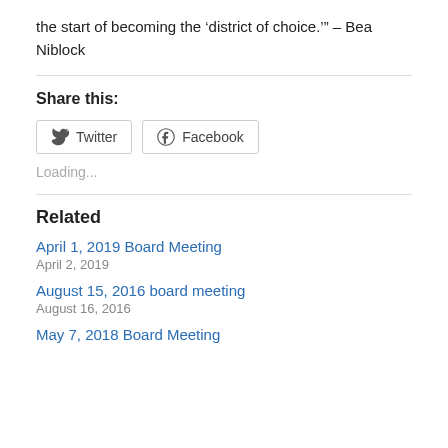the start of becoming the ‘district of choice.’” – Bea Niblock
Share this:
Twitter  Facebook
Loading...
Related
April 1, 2019 Board Meeting
April 2, 2019
August 15, 2016 board meeting
August 16, 2016
May 7, 2018 Board Meeting